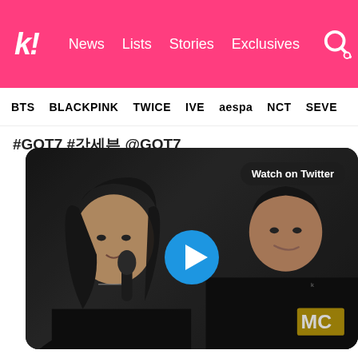k! News  Lists  Stories  Exclusives
BTS  BLACKPINK  TWICE  IVE  aespa  NCT  SEVE
#GOT7 #갓세븐 @GOT7
[Figure (photo): Two male K-pop artists in black outfits. Left person has long dark wavy hair and holds a microphone. Right person has short dark hair. A 'Watch on Twitter' badge appears top right. A blue play button is in the center. An MC sign is visible on the right. Photo appears to be from a media event or music show.]